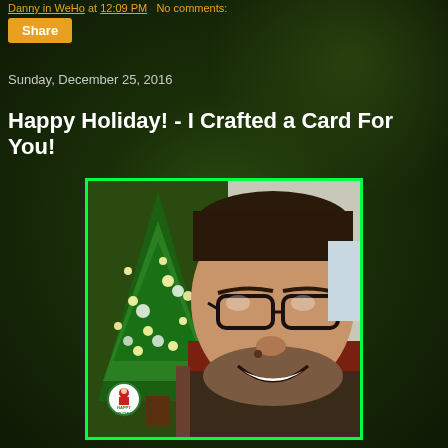Danny in WeHo at 12:09 PM   No comments:
Share
Sunday, December 25, 2016
Happy Holiday! - I Crafted a Card For You!
[Figure (photo): A smiling man with glasses and a beard, photographed in front of a decorated Christmas tree. A Happy Holidays badge/sticker is overlaid in the bottom left corner. The photo has a bright green border.]